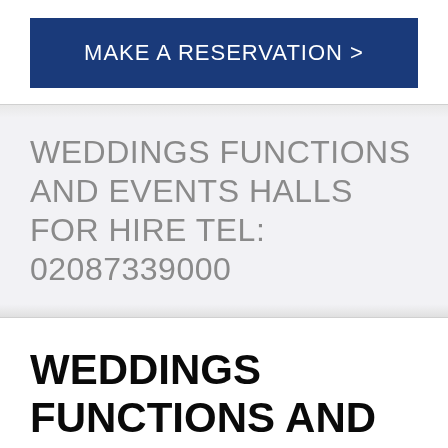MAKE A RESERVATION >
WEDDINGS FUNCTIONS AND EVENTS HALLS FOR HIRE TEL: 02087339000
WEDDINGS FUNCTIONS AND